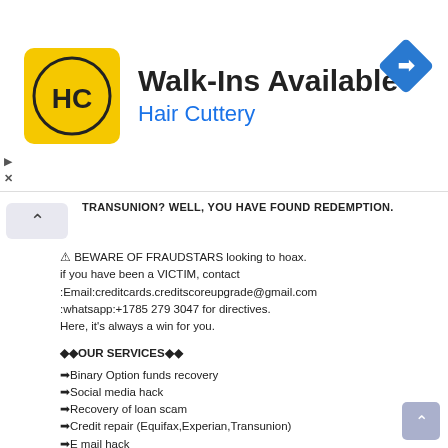[Figure (advertisement): Hair Cuttery ad banner with yellow HC logo, 'Walk-Ins Available' title, blue 'Hair Cuttery' subtitle, and blue diamond navigation icon]
TRANSUNION? WELL, YOU HAVE FOUND REDEMPTION.
⚠ BEWARE OF FRAUDSTARS looking to hoax.
if you have been a VICTIM, contact
:Email:creditcards.creditscoreupgrade@gmail.com
:whatsapp:+1785 279 3047 for directives.
Here, it's always a win for you.
◆◆OUR SERVICES◆◆
➡Binary Option funds recovery
➡Social media hack
➡Recovery of loan scam
➡Credit repair (Equifax,Experian,Transunion)
➡E mail hack
➡College score upgrade
➡Android & iPhone Hack
➡Website design
➡Website hack